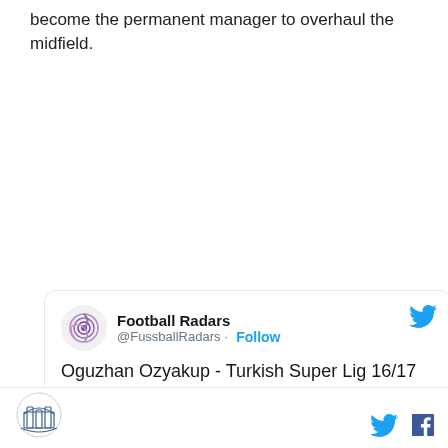become the permanent manager to overhaul the midfield.
[Figure (screenshot): Embedded tweet from @FussballRadars (Football Radars) with text 'Oguzhan Ozyakup - Turkish Super Lig 16/17 [for @JantasOO]' and a radar chart showing player statistics for Oguzhan Ozyakup, Besiktas JK, Season 2016/17, Age 24. The radar chart shows axes for Passing%, Key Passes, Throughballs, Contributions, Padj Interceptions, Long Balls.]